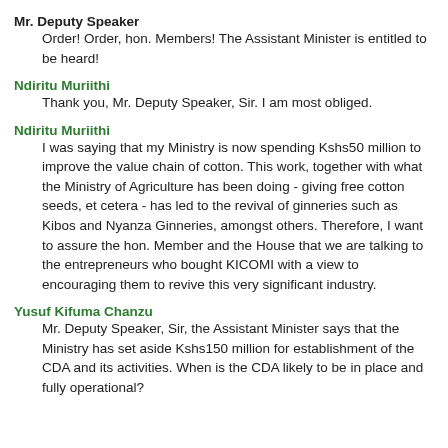Mr. Deputy Speaker
Order! Order, hon. Members! The Assistant Minister is entitled to be heard!
Ndiritu Muriithi
Thank you, Mr. Deputy Speaker, Sir. I am most obliged.
Ndiritu Muriithi
I was saying that my Ministry is now spending Kshs50 million to improve the value chain of cotton. This work, together with what the Ministry of Agriculture has been doing - giving free cotton seeds, et cetera - has led to the revival of ginneries such as Kibos and Nyanza Ginneries, amongst others. Therefore, I want to assure the hon. Member and the House that we are talking to the entrepreneurs who bought KICOMI with a view to encouraging them to revive this very significant industry.
Yusuf Kifuma Chanzu
Mr. Deputy Speaker, Sir, the Assistant Minister says that the Ministry has set aside Kshs150 million for establishment of the CDA and its activities. When is the CDA likely to be in place and fully operational?